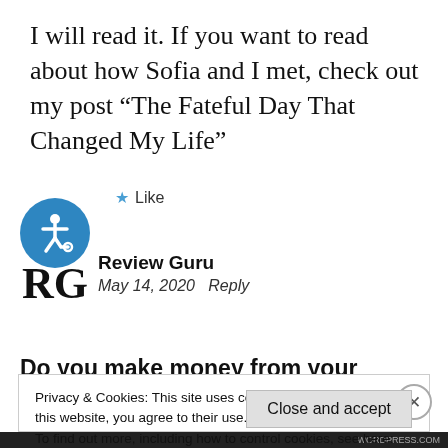I will read it. If you want to read about how Sofia and I met, check out my post “The Fateful Day That Changed My Life”
★ Like
[Figure (other): Blue circle icon with white wheelchair accessibility symbol]
[Figure (logo): RG logo in bold black serif letters]
Review Guru
May 14, 2020   Reply
Do you make money from your WordPress
Privacy & Cookies: This site uses cookies. By continuing to use this website, you agree to their use.
To find out more, including how to control cookies, see here:
Cookie Policy
Close and accept